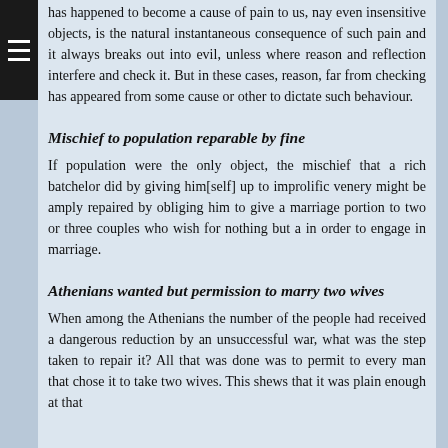has happened to become a cause of pain to us, nay even insensitive objects, is the natural instantaneous consequence of such pain and it always breaks out into evil, unless where reason and reflection interfere and check it. But in these cases, reason, far from checking has appeared from some cause or other to dictate such behaviour.
Mischief to population reparable by fine
If population were the only object, the mischief that a rich batchelor did by giving him[self] up to improlific venery might be amply repaired by obliging him to give a marriage portion to two or three couples who wish for nothing but a in order to engage in marriage.
Athenians wanted but permission to marry two wives
When among the Athenians the number of the people had received a dangerous reduction by an unsuccessful war, what was the step taken to repair it? All that was done was to permit to every man that chose it to take two wives. This shews that it was plain enough at that